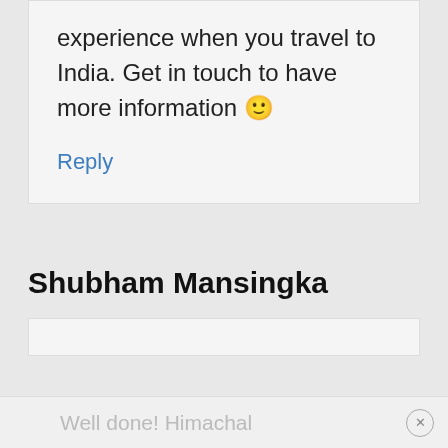experience when you travel to India. Get in touch to have more information 🙂
Reply
Shubham Mansingka
Well done! Himachal